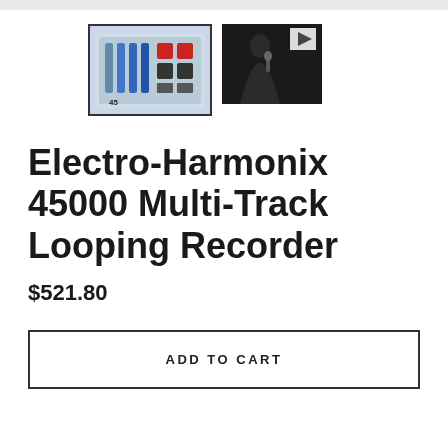[Figure (screenshot): Thumbnail of Electro-Harmonix 45000 device — top view of multi-track looping recorder hardware with blue faders and controls]
[Figure (screenshot): Video thumbnail of a person holding a microphone on a dark stage, with a white play button overlay]
Electro-Harmonix 45000 Multi-Track Looping Recorder
$521.80
ADD TO CART